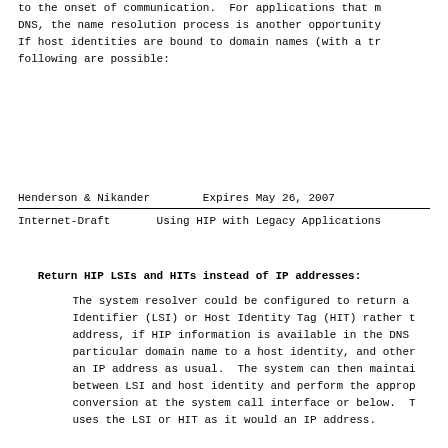to the onset of communication.  For applications that m DNS, the name resolution process is another opportunity If host identities are bound to domain names (with a tr following are possible:
Henderson & Nikander        Expires May 26, 2007
Internet-Draft       Using HIP with Legacy Applications
Return HIP LSIs and HITs instead of IP addresses:
The system resolver could be configured to return a Identifier (LSI) or Host Identity Tag (HIT) rather t address, if HIP information is available in the DNS particular domain name to a host identity, and other an IP address as usual.  The system can then maintai between LSI and host identity and perform the approp conversion at the system call interface or below.  T uses the LSI or HIT as it would an IP address.